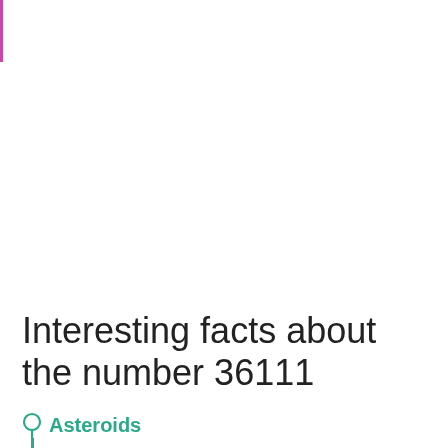Interesting facts about the number 36111
Asteroids